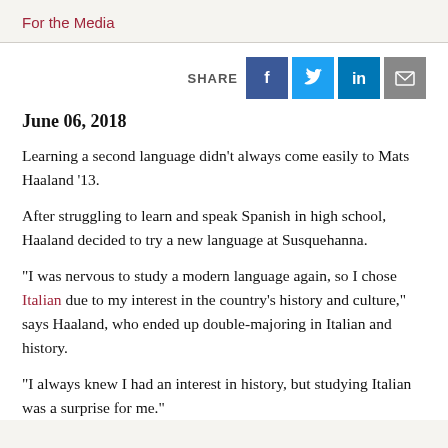For the Media
SHARE [social icons: Facebook, Twitter, LinkedIn, Email]
June 06, 2018
Learning a second language didn’t always come easily to Mats Haaland ’13.
After struggling to learn and speak Spanish in high school, Haaland decided to try a new language at Susquehanna.
“I was nervous to study a modern language again, so I chose Italian due to my interest in the country’s history and culture,” says Haaland, who ended up double-majoring in Italian and history.
“I always knew I had an interest in history, but studying Italian was a surprise for me.”